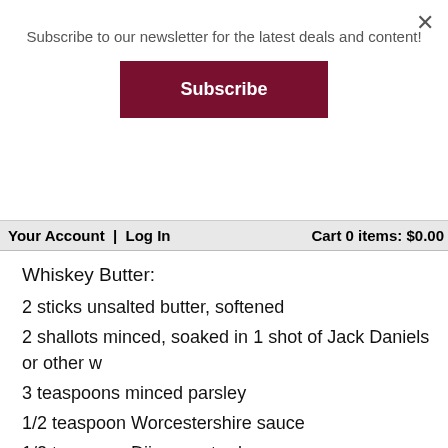Subscribe to our newsletter for the latest deals and content!
Subscribe
Your Account  |  Log In    Cart 0 items: $0.00
Whiskey Butter:
2 sticks unsalted butter, softened
2 shallots minced, soaked in 1 shot of Jack Daniels or other
3 teaspoons minced parsley
1/2 teaspoon Worcestershire sauce
1/2 teaspoon Dijon mustard
3 teaspoons Jack Daniels or other whiskey
1/2 teaspoon sea salt
White pepper to taste
Steaks:
4 cowboy steaks, bone-in rib eye steaks, or other favorite ste
1 teaspoon kosher salt
1/4 teaspoon whole black peppercorns, coarsely ground